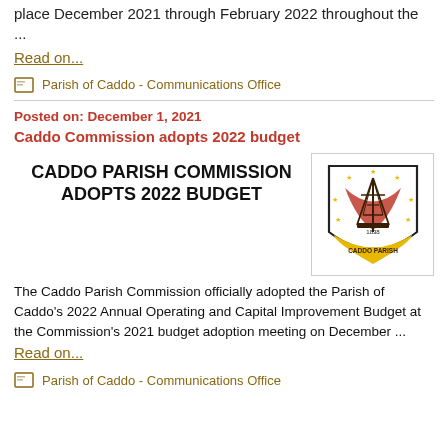place December 2021 through February 2022 throughout the ...
Read on...
Parish of Caddo - Communications Office
Posted on: December 1, 2021
Caddo Commission adopts 2022 budget
[Figure (logo): Caddo Parish official seal/logo featuring an oil derrick, red ribbon, yellow stars, and the text 'CADDO PARISH 1838' on a shield shape with yellow banner]
CADDO PARISH COMMISSION ADOPTS 2022 BUDGET
The Caddo Parish Commission officially adopted the Parish of Caddo’s 2022 Annual Operating and Capital Improvement Budget at the Commission's 2021 budget adoption meeting on December ...
Read on...
Parish of Caddo - Communications Office